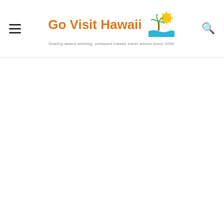Go Visit Hawaii — Sharing award-winning, unbiased Hawaii travel advice since 2006
[Figure (screenshot): Large white advertisement placeholder area]
✓ Dine-in  ✓ Takeout  ✓ Delivery
[Figure (logo): sweetFrog logo]
[Figure (other): Blue diamond direction/navigation icon]
Caramel Apple Pie Swirl = Yum